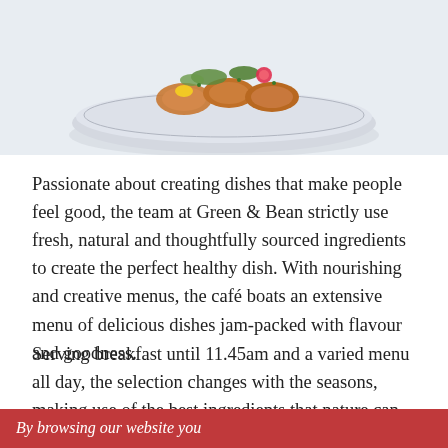[Figure (photo): A plate of food items (fried/breaded pieces garnished with greens and a radish) on a decorative plate, shot from above on a white/light blue background.]
Passionate about creating dishes that make people feel good, the team at Green & Bean strictly use fresh, natural and thoughtfully sourced ingredients to create the perfect healthy dish. With nourishing and creative menus, the café boats an extensive menu of delicious dishes jam-packed with flavour and goodness.
Serving breakfast until 11.45am and a varied menu all day, the selection changes with the seasons, making use of the best ingredients that nature can offer. With good food, good spirit, and good healthy
By browsing our website you